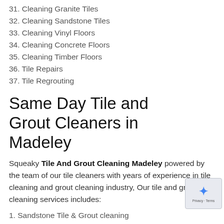31. Cleaning Granite Tiles
32. Cleaning Sandstone Tiles
33. Cleaning Vinyl Floors
34. Cleaning Concrete Floors
35. Cleaning Timber Floors
36. Tile Repairs
37. Tile Regrouting
Same Day Tile and Grout Cleaners in Madeley
Squeaky Tile And Grout Cleaning Madeley powered by the team of our tile cleaners with years of experience in tile cleaning and grout cleaning industry, Our tile and grout cleaning services includes:
1. Sandstone Tile & Grout cleaning